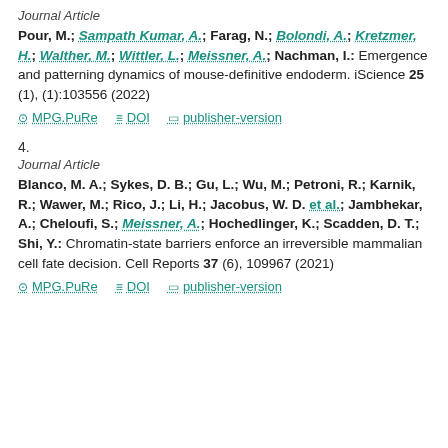Journal Article
Pour, M.; Sampath Kumar, A.; Farag, N.; Bolondi, A.; Kretzmer, H.; Walther, M.; Wittler, L.; Meissner, A.; Nachman, I.: Emergence and patterning dynamics of mouse-definitive endoderm. iScience 25 (1), (1):103556 (2022)
MPG.PuRe  DOI  publisher-version
4.
Journal Article
Blanco, M. A.; Sykes, D. B.; Gu, L.; Wu, M.; Petroni, R.; Karnik, R.; Wawer, M.; Rico, J.; Li, H.; Jacobus, W. D. et al.; Jambhekar, A.; Cheloufi, S.; Meissner, A.; Hochedlinger, K.; Scadden, D. T.; Shi, Y.: Chromatin-state barriers enforce an irreversible mammalian cell fate decision. Cell Reports 37 (6), 109967 (2021)
MPG.PuRe  DOI  publisher-version